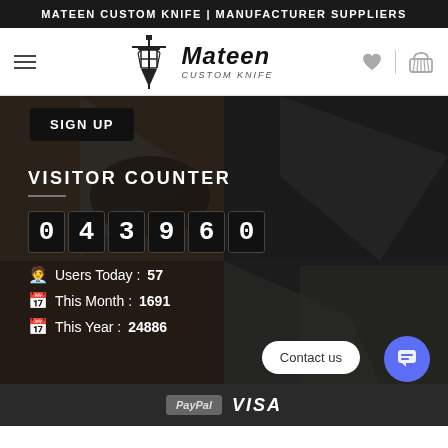MATEEN CUSTOM KNIFE | MANUFACTURER SUPPLIERS
[Figure (logo): Mateen Custom Knife logo with sword emblem and brand name in stylized font]
[Figure (screenshot): Website screenshot showing knife product images in dark background with SIGN UP button, VISITOR COUNTER section showing 043960 total, Users Today: 57, This Month: 1691, This Year: 24886, plus Contact us button and PayPal/VISA payment icons]